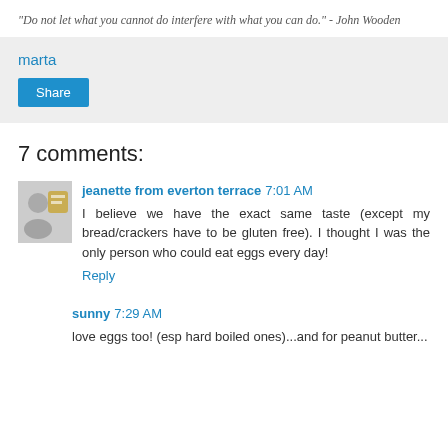"Do not let what you cannot do interfere with what you can do." - John Wooden
marta
Share
7 comments:
jeanette from everton terrace  7:01 AM
I believe we have the exact same taste (except my bread/crackers have to be gluten free). I thought I was the only person who could eat eggs every day!
Reply
sunny  7:29 AM
love eggs too! (esp hard boiled ones)...and for peanut butter...